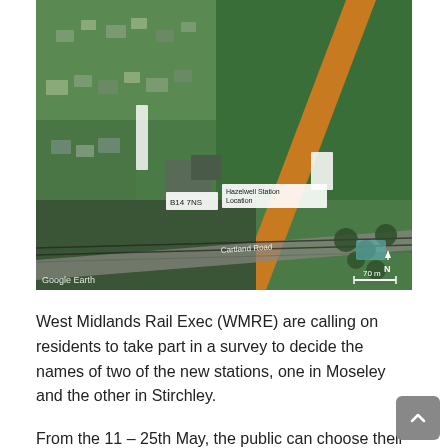[Figure (map): Aerial/satellite Google Earth image showing the Hazelwell Station Location near B14 7NS postcode, with an orange diagonal strip (proposed railway line), residential streets, green fields, and Cartland Road visible. Map labels include 'Hazelwell Station Location' and 'B14 7NS'. Google Earth watermark and scale bar (70m) visible at bottom.]
West Midlands Rail Exec (WMRE) are calling on residents to take part in a survey to decide the names of two of the new stations, one in Moseley and the other in Stirchley.
From the 11 – 25th May, the public can choose their preferred name for the station by visiting the WMRE